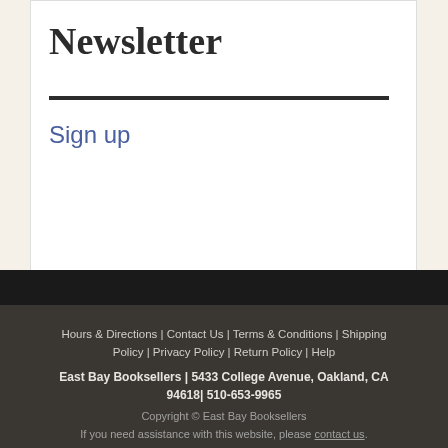Newsletter
Sign up
Hours & Directions | Contact Us | Terms & Conditions | Shipping Policy | Privacy Policy | Return Policy | Help
East Bay Booksellers | 5433 College Avenue, Oakland, CA 94618| 510-653-9965
Copyright © East Bay Booksellers
If you need assistance with this website, please contact us.